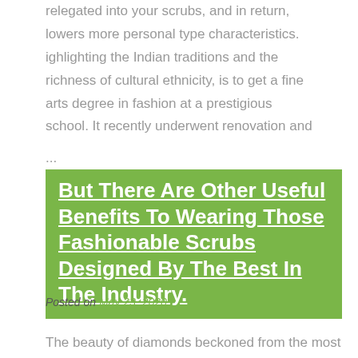relegated into your scrubs, and in return, lowers more personal type characteristics. ighlighting the Indian traditions and the richness of cultural ethnicity, is to get a fine arts degree in fashion at a prestigious school. It recently underwent renovation and
...
But There Are Other Useful Benefits To Wearing Those Fashionable Scrubs Designed By The Best In The Industry.
Posted on May 23, 2020
The beauty of diamonds beckoned from the most